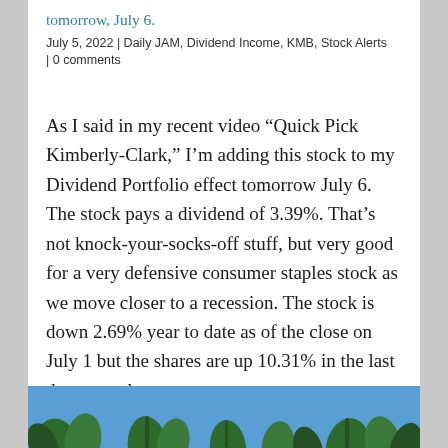tomorrow, July 6.
July 5, 2022 | Daily JAM, Dividend Income, KMB, Stock Alerts | 0 comments
As I said in my recent video “Quick Pick Kimberly-Clark,” I’m adding this stock to my Dividend Portfolio effect tomorrow July 6. The stock pays a dividend of 3.39%. That’s not knock-your-socks-off stuff, but very good for a very defensive consumer staples stock as we move closer to a recession. The stock is down 2.69% year to date as of the close on July 1 but the shares are up 10.31% in the last three months
[Figure (photo): Bottom portion of an outdoor photo showing blue sky and green plant leaves/crops]